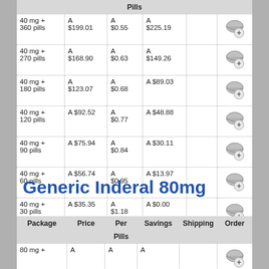| Package | Price | Per Pills | Savings | Shipping | Order |
| --- | --- | --- | --- | --- | --- |
| 40 mg + 360 pills | A $199.01 | A $0.55 | A $225.19 |  |  |
| 40 mg + 270 pills | A $168.90 | A $0.63 | A $149.26 |  |  |
| 40 mg + 180 pills | A $123.07 | A $0.68 | A $89.03 |  |  |
| 40 mg + 120 pills | A $92.52 | A $0.77 | A $48.88 |  |  |
| 40 mg + 90 pills | A $75.94 | A $0.84 | A $30.11 |  |  |
| 40 mg + 60 pills | A $56.74 | A $0.95 | A $13.97 |  |  |
| 40 mg + 30 pills | A $35.35 | A $1.18 | A $0.00 |  |  |
Generic Inderal 80mg
| Package | Price | Per Pills | Savings | Shipping | Order |
| --- | --- | --- | --- | --- | --- |
| 80 mg + | A | A | A |  |  |